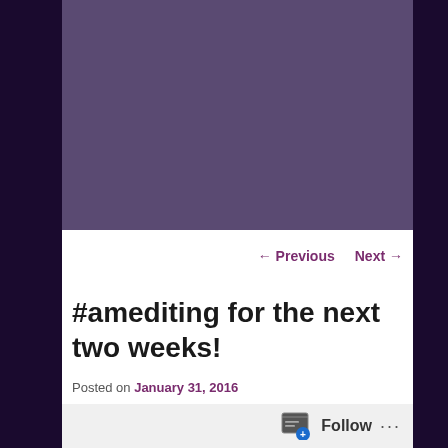The Mermaid Hotel Romance Series
Short Story Anthologies    Other
← Previous   Next →
#amediting for the next two weeks!
Posted on January 31, 2016
Last week I finally completed the read through and edit of 'Search for the Sentinel'. It's in good shape, though far from ready to self publish. I need to add in a dozen or so scenes and have lots of tell and unnecessary exposition